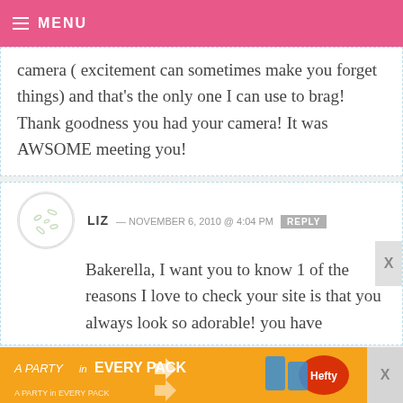MENU
camera ( excitement can sometimes make you forget things) and that’s the only one I can use to brag! Thank goodness you had your camera! It was AWSOME meeting you!
LIZ — NOVEMBER 6, 2010 @ 4:04 PM  REPLY
Bakerella, I want you to know 1 of the reasons I love to check your site is that you always look so adorable! you have
[Figure (infographic): Orange advertisement banner: A PARTY in EVERY PACK with Hefty product image]